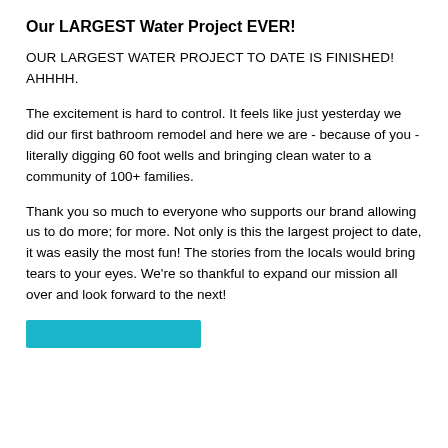Our LARGEST Water Project EVER!
OUR LARGEST WATER PROJECT TO DATE IS FINISHED! AHHHH.
The excitement is hard to control. It feels like just yesterday we did our first bathroom remodel and here we are - because of you - literally digging 60 foot wells and bringing clean water to a community of 100+ families.
Thank you so much to everyone who supports our brand allowing us to do more; for more. Not only is this the largest project to date, it was easily the most fun! The stories from the locals would bring tears to your eyes. We're so thankful to expand our mission all over and look forward to the next!
[Figure (other): Teal/cyan colored rectangular button or bar at the bottom of the page]